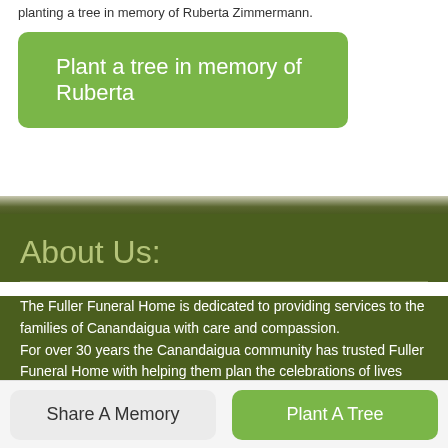planting a tree in memory of Ruberta Zimmermann.
Plant a tree in memory of Ruberta
About Us:
The Fuller Funeral Home is dedicated to providing services to the families of Canandaigua with care and compassion.
For over 30 years the Canandaigua community has trusted Fuller Funeral Home with helping them plan the celebrations of lives lived.
Share A Memory
Plant A Tree